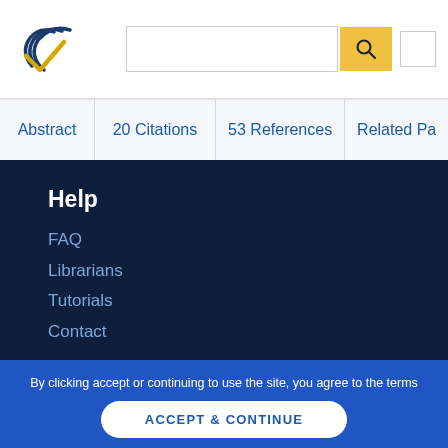Semantic Scholar logo, search bar, search button
Abstract | 20 Citations | 53 References | Related Pa...
Help
FAQ
Librarians
Tutorials
Contact
By clicking accept or continuing to use the site, you agree to the terms outlined in our Privacy Policy, Terms of Service, and Dataset License
ACCEPT & CONTINUE